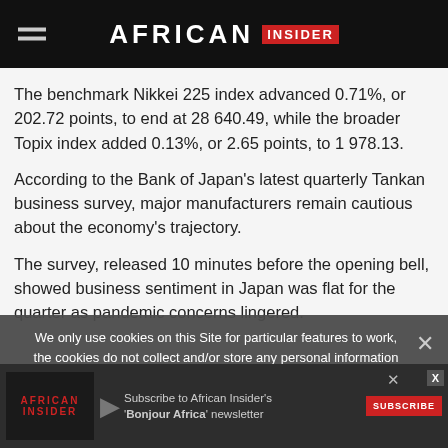AFRICAN INSIDER
The benchmark Nikkei 225 index advanced 0.71%, or 202.72 points, to end at 28 640.49, while the broader Topix index added 0.13%, or 2.65 points, to 1 978.13.
According to the Bank of Japan's latest quarterly Tankan business survey, major manufacturers remain cautious about the economy's trajectory.
The survey, released 10 minutes before the opening bell, showed business sentiment in Japan was flat for the quarter as pandemic concerns lingered.
While rallies on Wall Street supported Japanese shares, some investors took a wait-and-see approach ahead of the
We only use cookies on this Site for particular features to work, the cookies do not collect and/or store any personal information about you.